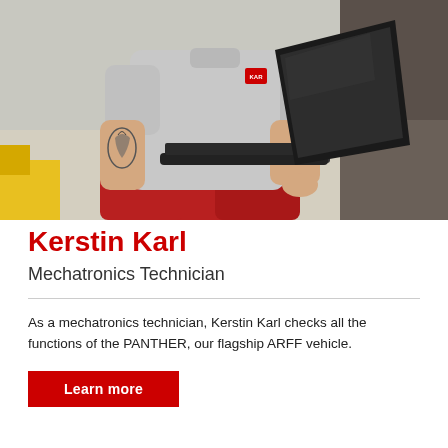[Figure (photo): A mechanic/mechatronics technician in a grey uniform shirt and red work pants sitting cross-legged, using a black laptop. The person has a tattoo visible on their arm. Background shows a workshop environment with tires and yellow equipment.]
Kerstin Karl
Mechatronics Technician
As a mechatronics technician, Kerstin Karl checks all the functions of the PANTHER, our flagship ARFF vehicle.
Learn more